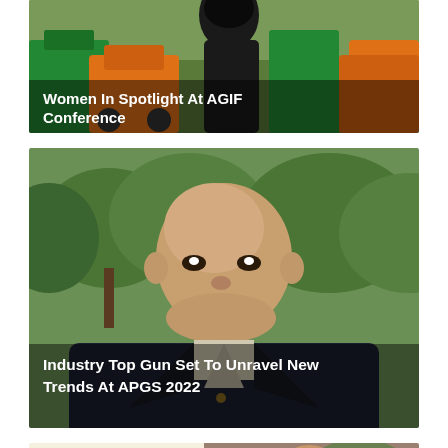[Figure (photo): Photo of woman near industrial equipment (motorcycles/generators) with text overlay: Women In Spotlight At AGIF Conference]
Women In Spotlight At AGIF Conference
[Figure (photo): Photo of older bald smiling man in dark suit outdoors with trees in background and text overlay: Industry Top Gun Set To Unravel New Trends At APGS 2022]
Industry Top Gun Set To Unravel New Trends At APGS 2022
[Figure (photo): Split image: left side shows golden bear trophy/award, right side shows man in suit (partial view)]